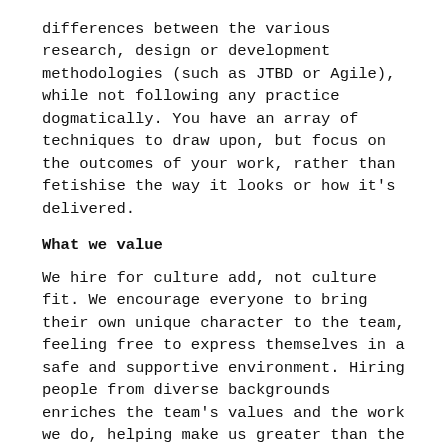differences between the various research, design or development methodologies (such as JTBD or Agile), while not following any practice dogmatically. You have an array of techniques to draw upon, but focus on the outcomes of your work, rather than fetishise the way it looks or how it's delivered.
What we value
We hire for culture add, not culture fit. We encourage everyone to bring their own unique character to the team, feeling free to express themselves in a safe and supportive environment. Hiring people from diverse backgrounds enriches the team's values and the work we do, helping make us greater than the sum of our parts.
ABOUT US
Clearleft is an employee-owned collaborative team of designers, technologists, connectors and curators who share a passion for improving people's lives and transforming organisations through design.